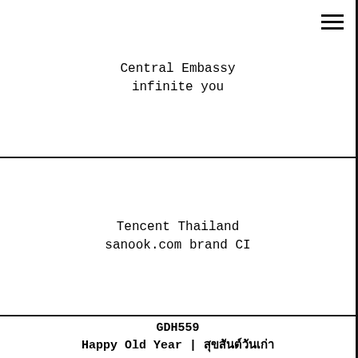[Figure (other): Hamburger menu icon (three horizontal lines) in top right corner]
Central Embassy
infinite you
Tencent Thailand
sanook.com brand CI
GDH559
Happy Old Year | สุขสันต์วันเก่า